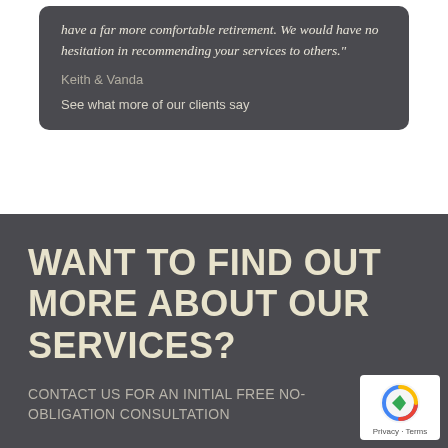have a far more comfortable retirement. We would have no hesitation in recommending your services to others."
Keith & Vanda
See what more of our clients say
WANT TO FIND OUT MORE ABOUT OUR SERVICES?
CONTACT US FOR AN INITIAL FREE NO-OBLIGATION CONSULTATION
[Figure (logo): reCAPTCHA badge with Privacy and Terms links]